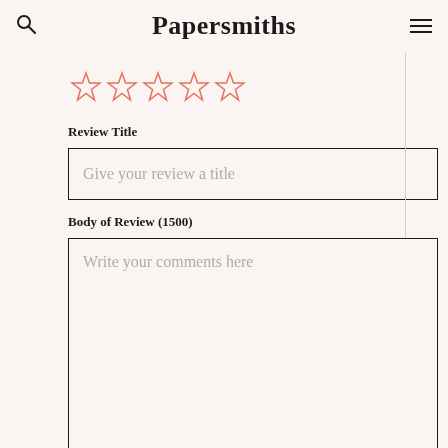Papersmiths
[Figure (other): Five empty star rating icons in coral/salmon color for rating input]
Review Title
Give your review a title
Body of Review (1500)
Write your comments here